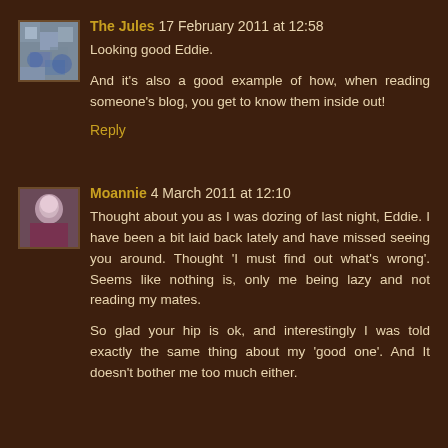The Jules 17 February 2011 at 12:58
Looking good Eddie.
And it's also a good example of how, when reading someone's blog, you get to know them inside out!
Reply
Moannie 4 March 2011 at 12:10
Thought about you as I was dozing of last night, Eddie. I have been a bit laid back lately and have missed seeing you around. Thought 'I must find out what's wrong'. Seems like nothing is, only me being lazy and not reading my mates.
So glad your hip is ok, and interestingly I was told exactly the same thing about my 'good one'. And It doesn't bother me too much either.